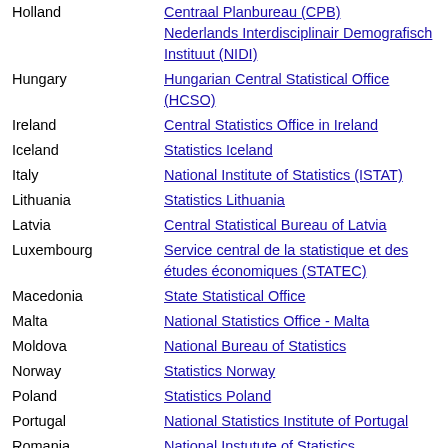Holland | Centraal Planbureau (CPB)
Holland | Nederlands Interdisciplinair Demografisch Instituut (NIDI)
Hungary | Hungarian Central Statistical Office (HCSO)
Ireland | Central Statistics Office in Ireland
Iceland | Statistics Iceland
Italy | National Institute of Statistics (ISTAT)
Lithuania | Statistics Lithuania
Latvia | Central Statistical Bureau of Latvia
Luxembourg | Service central de la statistique et des études économiques (STATEC)
Macedonia | State Statistical Office
Malta | National Statistics Office - Malta
Moldova | National Bureau of Statistics
Norway | Statistics Norway
Poland | Statistics Poland
Portugal | National Statistics Institute of Portugal
Romania | National Instutute of Statistics
Russian Federation | Federal State Statistics Service
Slovenia | Statistical Office of the Republic of Slovenia
Serbia | Statistical Office of the Republic of Serbia